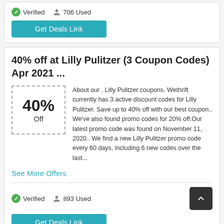Verified  706 Used
Get Deals Link
40% off at Lilly Pulitzer (3 Coupon Codes) Apr 2021 ...
[Figure (infographic): Dashed border box showing '40% Off' coupon badge]
About our . Lilly Pulitzer coupons. Wethrift currently has 3 active discount codes for Lilly Pulitzer. Save up to 40% off with our best coupon.. We've also found promo codes for 20% off.Our latest promo code was found on November 11, 2020.. We find a new Lilly Pulitzer promo code every 60 days, including 6 new codes over the last...
See More Offers
Verified  893 Used
Get Deals Link
20% Off Lilly Pulitzer Coupons, Promo Codes March 2021